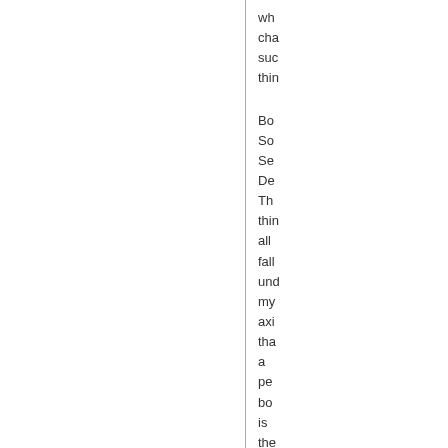wh cha suc thin
Bo So Se De Th thin all fall und my axi tha a per bo is the one thin tha